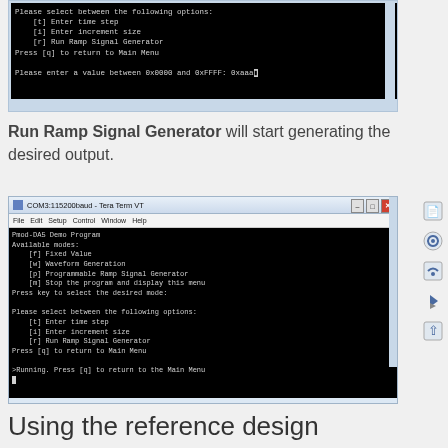[Figure (screenshot): Terminal/console window showing menu options: [t] Enter time step, [i] Enter increment size, [r] Run Ramp Signal Generator, Press [q] to return to Main Menu, and prompt: Please enter a value between 0x0000 and 0xFFFF: 0xaaa]
Run Ramp Signal Generator will start generating the desired output.
[Figure (screenshot): Tera Term VT terminal window (COM3:115200baud) showing Pmod-DA5 Demo Program menu with available modes and running state: >Running. Press [q] to return to the Main Menu]
Using the reference design